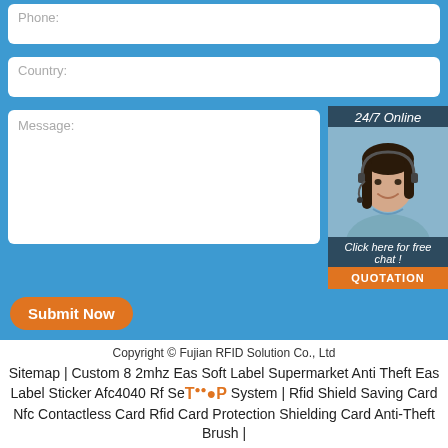Phone:
Country:
Message:
24/7 Online
[Figure (photo): Customer service representative woman with headset, smiling]
Click here for free chat !
QUOTATION
Submit Now
Copyright © Fujian RFID Solution Co., Ltd
Sitemap | Custom 8 2mhz Eas Soft Label Supermarket Anti Theft Eas Label Sticker Afc4040 Rf Security System | Rfid Shield Saving Card Nfc Contactless Card Rfid Card Protection Shielding Card Anti-Theft Brush |